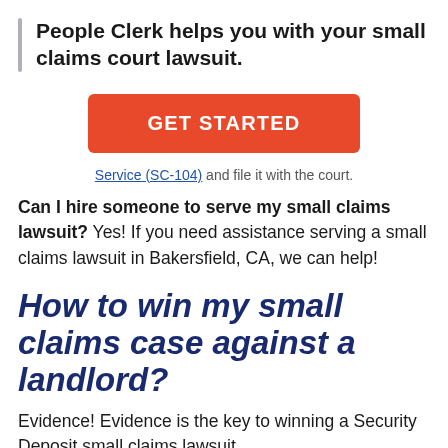People Clerk helps you with your small claims court lawsuit.
[Figure (other): Orange 'GET STARTED' call-to-action button]
Service (SC-104) and file it with the court.
Can I hire someone to serve my small claims lawsuit? Yes! If you need assistance serving a small claims lawsuit in Bakersfield, CA, we can help!
How to win my small claims case against a landlord?
Evidence! Evidence is the key to winning a Security Deposit small claims lawsuit.
If you have a Security Deposit small claims lawsuit in